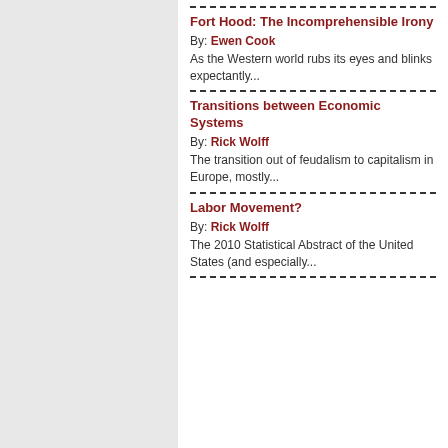Fort Hood: The Incomprehensible Irony
By: Ewen Cook
As the Western world rubs its eyes and blinks expectantly...
Transitions between Economic Systems
By: Rick Wolff
The transition out of feudalism to capitalism in Europe, mostly...
Labor Movement?
By: Rick Wolff
The 2010 Statistical Abstract of the United States (and especially...